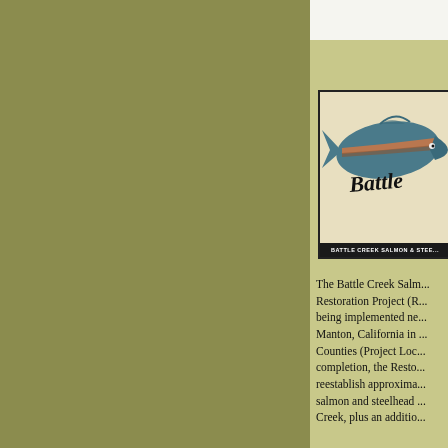[Figure (logo): Battle Creek Salmon and Steelhead Restoration Project logo showing a stylized fish (salmon/steelhead) in blue-green with orange stripe, with cursive 'Battle' text and 'BATTLE CREEK SALMON & STEELHEAD' text bar at bottom.]
The Battle Creek Salmon and Steelhead Restoration Project (R... being implemented ne... Manton, California in ... Counties (Project Loc... completion, the Resto... reestablish approxima... salmon and steelhead ... Creek, plus an additio...